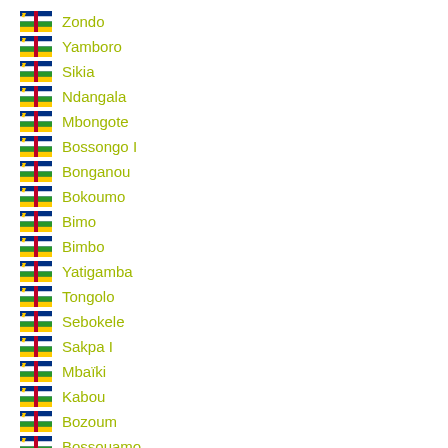Zondo
Yamboro
Sikia
Ndangala
Mbongote
Bossongo I
Bonganou
Bokoumo
Bimo
Bimbo
Yatigamba
Tongolo
Sebokele
Sakpa I
Mbaïki
Kabou
Bozoum
Bossouamo